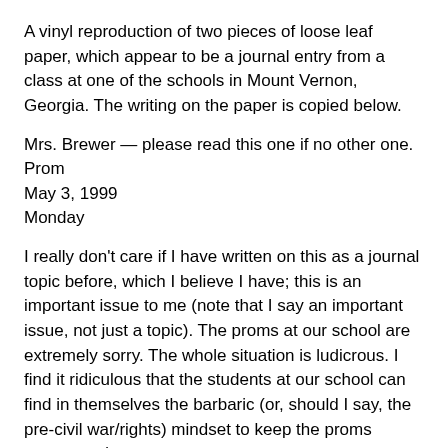A vinyl reproduction of two pieces of loose leaf paper, which appear to be a journal entry from a class at one of the schools in Mount Vernon, Georgia. The writing on the paper is copied below.
Mrs. Brewer — please read this one if no other one.
Prom
May 3, 1999
Monday
I really don't care if I have written on this as a journal topic before, which I believe I have; this is an important issue to me (note that I say an important issue, not just a topic). The proms at our school are extremely sorry. The whole situation is ludicrous. I find it ridiculous that the students at our school can find in themselves the barbaric (or, should I say, the pre-civil war/rights) mindset to keep the proms segregated.